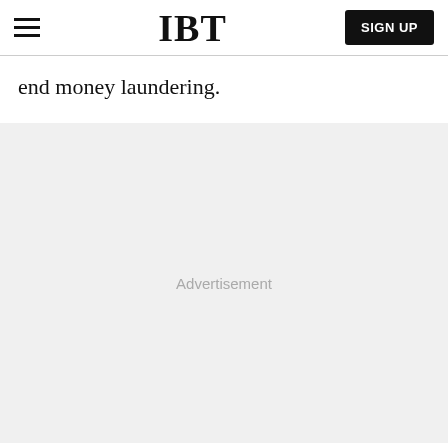IBT | SIGN UP
end money laundering.
[Figure (other): Advertisement placeholder area with light gray background and centered 'Advertisement' label text]